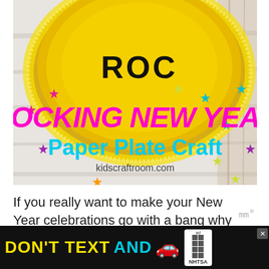[Figure (photo): A gold glitter paper plate with 'ROC' written on it in black marker, surrounded by colorful star confetti on a white wooden surface. Overlaid text reads 'ROCKING NEW YEAR Paper Plate Craft' in magenta and cyan bubble letters, with 'kidscraftroom.com' below.]
If you really want to make your New Year celebrations go with a bang why
[Figure (photo): Advertisement banner: 'DON'T TEXT AND' in yellow and cyan bold text, red car emoji, ad badge with squares, and NHTSA logo on black background. Close button (X) in top right.]